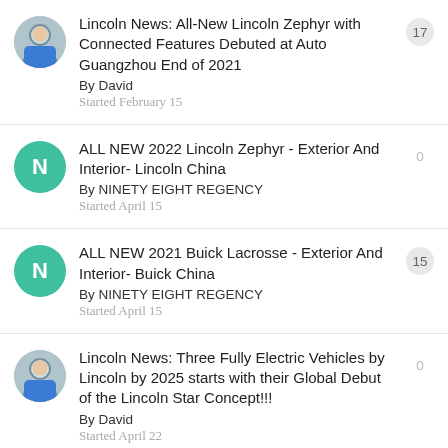Lincoln News: All-New Lincoln Zephyr with Connected Features Debuted at Auto Guangzhou End of 2021
By David
Started February 15
17
ALL NEW 2022 Lincoln Zephyr - Exterior And Interior- Lincoln China
By NINETY EIGHT REGENCY
Started April 15
0
ALL NEW 2021 Buick Lacrosse - Exterior And Interior- Buick China
By NINETY EIGHT REGENCY
Started April 15
15
Lincoln News: Three Fully Electric Vehicles by Lincoln by 2025 starts with their Global Debut of the Lincoln Star Concept!!!
By David
Started April 22
0